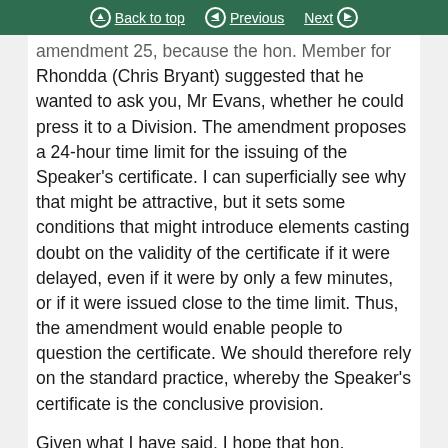Back to top | Previous | Next
amendment 25, because the hon. Member for Rhondda (Chris Bryant) suggested that he wanted to ask you, Mr Evans, whether he could press it to a Division. The amendment proposes a 24-hour time limit for the issuing of the Speaker's certificate. I can superficially see why that might be attractive, but it sets some conditions that might introduce elements casting doubt on the validity of the certificate if it were delayed, even if it were by only a few minutes, or if it were issued close to the time limit. Thus, the amendment would enable people to question the certificate. We should therefore rely on the standard practice, whereby the Speaker's certificate is the conclusive provision.

Given what I have said, I hope that hon. Members will...